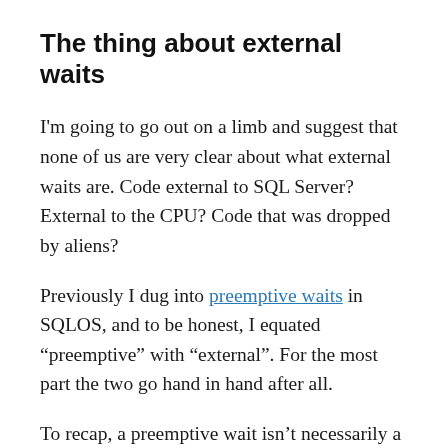The thing about external waits
I'm going to go out on a limb and suggest that none of us are very clear about what external waits are. Code external to SQL Server? External to the CPU? Code that was dropped by aliens?
Previously I dug into preemptive waits in SQLOS, and to be honest, I equated “preemptive” with “external”. For the most part the two go hand in hand after all.
To recap, a preemptive wait isn’t necessarily a wait at all. What happens is that a worker needs to run some code that can’t be trusted to play